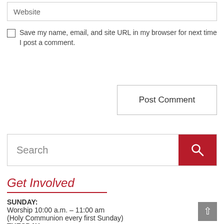Website
Save my name, email, and site URL in my browser for next time I post a comment.
Post Comment
Search
Get Involved
SUNDAY:
Worship 10:00 a.m. – 11:00 am
(Holy Communion every first Sunday)
TUESDAY:
Bible Study at 2:00 pm @ Jeremiah's Coffee Shop, Marietta, Ohio